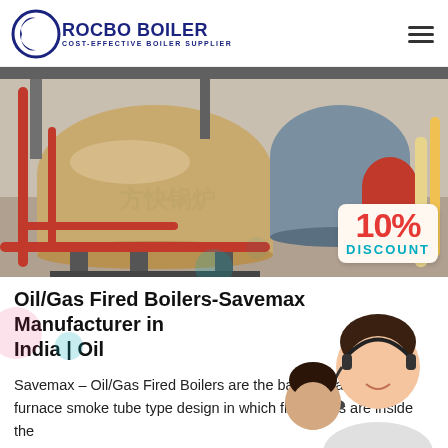ROCBO BOILER — COST-EFFECTIVE BOILER SUPPLIER
[Figure (photo): Industrial oil/gas fired boilers in a factory setting, large horizontal cylindrical tanks on supports with piping. A red '10% DISCOUNT' badge is overlaid at bottom right.]
Oil/Gas Fired Boilers-Savemax Manufacturer in India | Oil
Savemax – Oil/Gas Fired Boilers are the basic 3 pass furnace smoke tube type design in which flue gases are inside the tubes while water is outside the tubes in the sh...